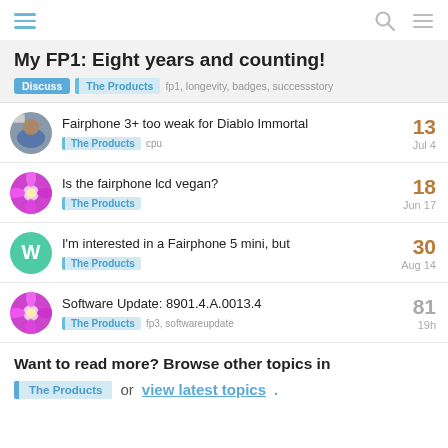Navigation header with hamburger menu, search and menu icons
My FP1: Eight years and counting!
Discuss | The Products | fp1, longevity, badges, successstory
Fairphone 3+ too weak for Diablo Immortal — The Products, cpu — 13 replies — Jul 4
Is the fairphone lcd vegan? — The Products — 18 replies — Jun 17
I'm interested in a Fairphone 5 mini, but — The Products — 30 replies — Aug 14
Software Update: 8901.4.A.0013.4 — The Products, fp3, softwareupdate — 81 replies — 19h
Want to read more? Browse other topics in The Products or view latest topics.